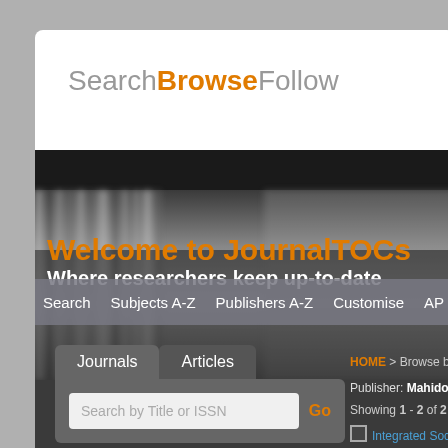[Figure (screenshot): Screenshot of JournalTOCs website showing the SearchBrowseFollow header, hero image with 'Welcome to JournalTOCs - Where researchers keep up-to-date' text, navigation bar with Search, Subjects A-Z, Publishers A-Z, Customise, API links, a Journals/Articles tab with search input, breadcrumb HOME > Browse by Publisher, Publisher: Mahidol University info, and Integrated Social S... journal link.]
SearchBrowseFollow
Welcome to JournalTOCs
Where researchers keep up-to-date
Search   Subjects A-Z   Publishers A-Z   Customise   API
Journals   Articles
Search by Title or ISSN   Go
HOME > Browse by Publisher
Publisher: Mahidol Unive
Showing 1 - 2 of 2 Journ
Integrated Social S